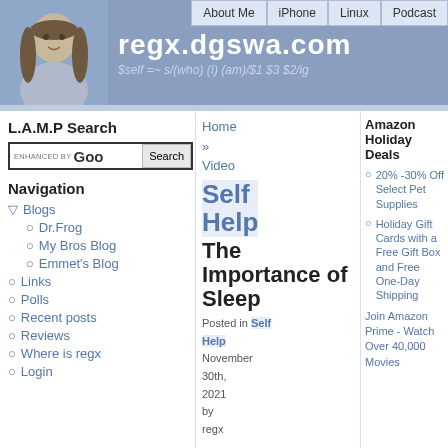regx.dgswa.com — $self =~ s/(who) (I) (am)/$1 $3 $2/ig
L.A.M.P Search
Navigation
Blogs
Dr.Frog
My Bros Blog
Emmet's Blog
Links
Polls
Recent posts
Reviews
Where is regx
Login
Home » Video Self Help
The Importance of Sleep
Posted in Self Help
November 30th, 2021
by regx
short zine on
Amazon Holiday Deals
20% -30% Off Select Pet Supplies
Holiday Gift Cards with a Free Gift Box and Free One-Day Shipping
Join Amazon Prime - Watch Over 40,000 Movies